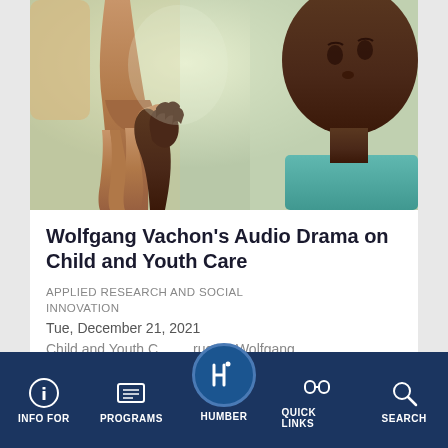[Figure (photo): An adult hand holding a small child's hand, with a child in a teal shirt visible in the background, outdoor setting]
Wolfgang Vachon's Audio Drama on Child and Youth Care
APPLIED RESEARCH AND SOCIAL INNOVATION
Tue, December 21, 2021
Child and Youth C... ructor, Wolfgang
INFO FOR  PROGRAMS  HUMBER  QUICK LINKS  SEARCH